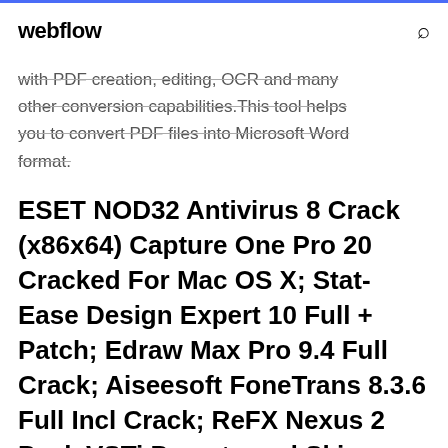webflow
with PDF creation, editing, OCR and many other conversion capabilities.This tool helps you to convert PDF files into Microsoft Word format.
ESET NOD32 Antivirus 8 Crack (x86x64) Capture One Pro 20 Cracked For Mac OS X; Stat-Ease Design Expert 10 Full + Patch; Edraw Max Pro 9.4 Full Crack; Aiseesoft FoneTrans 8.3.6 Full Incl Crack; ReFX Nexus 2 Pack VSTi Presets and Skins + Crack